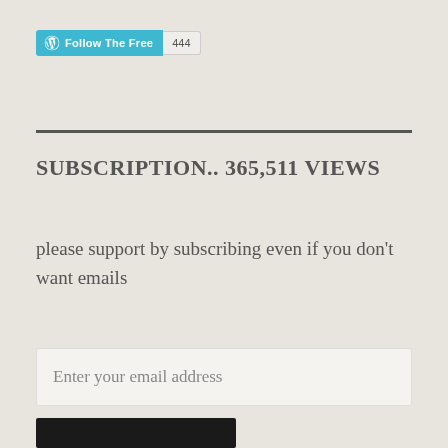[Figure (logo): WordPress Follow button with 'Follow The Free' text and follower count badge showing 444]
SUBSCRIPTION.. 365,511 VIEWS
please support by subscribing even if you don't want emails
Enter your email address